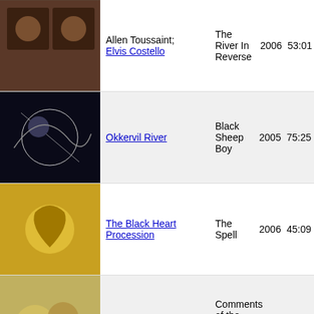|  | Artist | Album | Year | Duration |
| --- | --- | --- | --- | --- |
| [img] | Allen Toussaint; Elvis Costello | The River In Reverse | 2006 | 53:01 |
| [img] | Okkervil River | Black Sheep Boy | 2005 | 75:25 |
| [img] | The Black Heart Procession | The Spell | 2006 | 45:09 |
| [img] | Tunng | Comments of the Inner Chorus | 2006 | 46:01 |
| [img] | Wilderness | Vessel States | 2006 | 39:55 |
|  | Bellwether | The Stinging Nettles | 2006 | 34:14 |
| [img] | The Czars | Sorry I Made You Cry | 2006 | 50:05 |
|  | The Fever | In The City Of Sleep | 2006 | 57:59 |
| [img] | Ani DiFranco | Carnegie Hall 4.6.02: Live | 2006 | 68:04 |